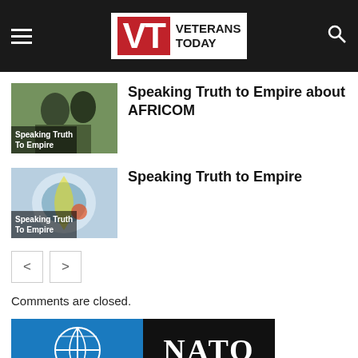Veterans Today
[Figure (screenshot): Thumbnail image of military personnel with overlay text 'Speaking Truth To Empire']
Speaking Truth to Empire about AFRICOM
[Figure (screenshot): Thumbnail image with overlay text 'Speaking Truth To Empire']
Speaking Truth to Empire
Comments are closed.
[Figure (logo): NATO logo with blue compass rose graphic and NATO text on black background]